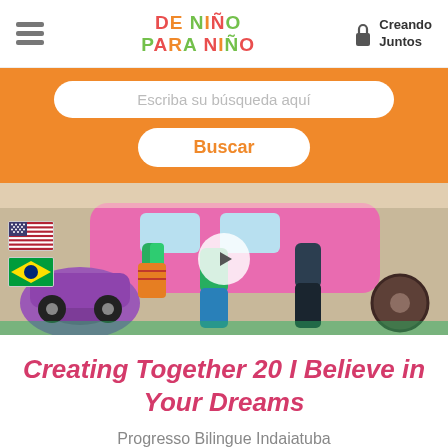DE NIÑO PARA NIÑO
Creando Juntos
Escriba su búsqueda aquí
Buscar
[Figure (illustration): Children's drawing showing kids walking/dancing in front of colorful cars. A play button overlay is visible in the center. US flag and Brazil flag are shown on the left side.]
Creating Together 20 I Believe in Your Dreams
Progresso Bilingue Indaiatuba